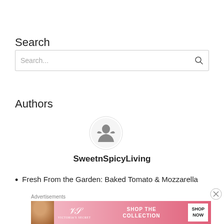Search
[Figure (other): Search input box with placeholder text 'Search...' and a magnifying glass icon on the right]
Authors
[Figure (logo): Circular avatar/logo for SweetnSpicyLiving author — silhouette with text around it]
SweetnSpicyLiving
Fresh From the Garden: Baked Tomato & Mozzarella
Advertisements
[Figure (other): Victoria's Secret advertisement banner with model photo, VS logo, 'SHOP THE COLLECTION' text, and 'SHOP NOW' button]